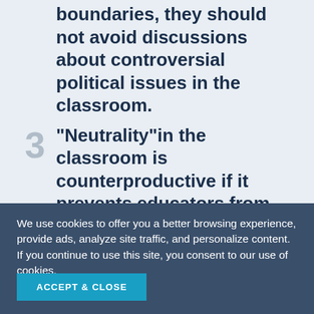careful about overstepping boundaries, they should not avoid discussions about controversial political issues in the classroom.
"Neutrality"in the classroom is counterproductive if it prevents educators from correcting misinformation and calling out toxic, divisive and racist...
We use cookies to offer you a better browsing experience, provide ads, analyze site traffic, and personalize content. If you continue to use this site, you consent to our use of cookies.
ACCEPT & CLOSE